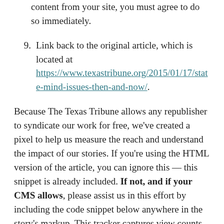(continuation) content from your site, you must agree to do so immediately.
9. Link back to the original article, which is located at https://www.texastribune.org/2015/01/17/state-mind-issues-then-and-now/.
Because The Texas Tribune allows any republisher to syndicate our work for free, we've created a pixel to help us measure the reach and understand the impact of our stories. If you're using the HTML version of the article, you can ignore this — this snippet is already included. If not, and if your CMS allows, please assist us in this effort by including the code snippet below anywhere in the story's markup. This tracker captures view counts and helps us break them down by date, your site's domain and from where you grabbed the article (for example, this page). No other information is gathered.